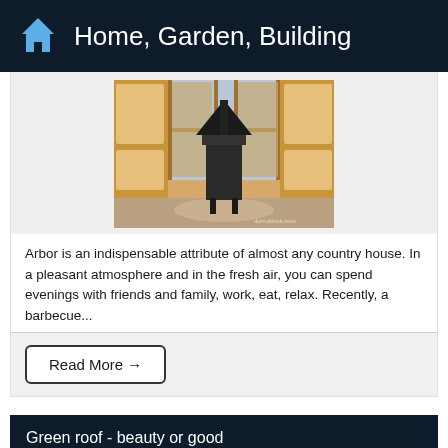Home, Garden, Building
[Figure (photo): Interior of a wooden garden arbor/gazebo with large glass doors and a central fireplace/barbecue grill]
Arbor is an indispensable attribute of almost any country house. In a pleasant atmosphere and in the fresh air, you can spend evenings with friends and family, work, eat, relax. Recently, a barbecue...
Read More →
Green roof - beauty or good